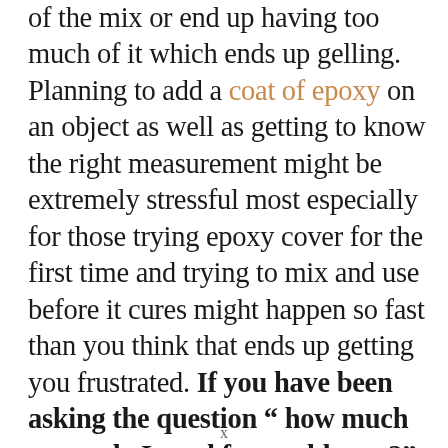of the mix or end up having too much of it which ends up gelling. Planning to add a coat of epoxy on an object as well as getting to know the right measurement might be extremely stressful most especially for those trying epoxy cover for the first time and trying to mix and use before it cures might happen so fast than you think that ends up getting you frustrated. If you have been asking the question " how much epoxy do I need for a table top?"
x